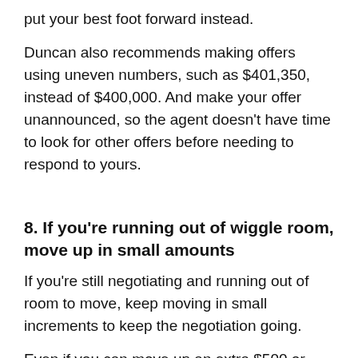put your best foot forward instead.
Duncan also recommends making offers using uneven numbers, such as $401,350, instead of $400,000. And make your offer unannounced, so the agent doesn't have time to look for other offers before needing to respond to yours.
8. If you're running out of wiggle room, move up in small amounts
If you're still negotiating and running out of room to move, keep moving in small increments to keep the negotiation going.
Even if you can move up an extra $500 or $1,000, the vendors will feel that you've worked as hard as possible